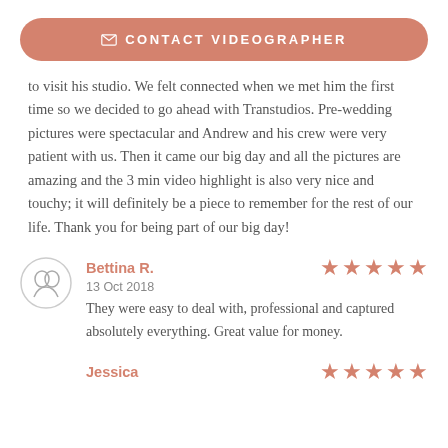✉ CONTACT VIDEOGRAPHER
to visit his studio. We felt connected when we met him the first time so we decided to go ahead with Transtudios. Pre-wedding pictures were spectacular and Andrew and his crew were very patient with us. Then it came our big day and all the pictures are amazing and the 3 min video highlight is also very nice and touchy; it will definitely be a piece to remember for the rest of our life. Thank you for being part of our big day!
Bettina R.
13 Oct 2018
They were easy to deal with, professional and captured absolutely everything. Great value for money.
Jessica